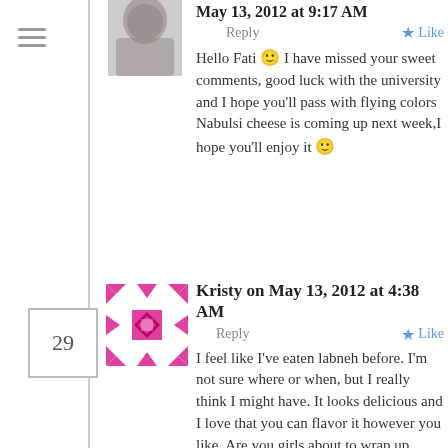[Figure (photo): Profile avatar photo of a person wearing a hijab, partially cropped at top]
May 13, 2012 at 9:17 AM
Reply   ★ Like
Hello Fati 🙂 I have missed your sweet comments, good luck with the university and I hope you'll pass with flying colors Nabulsi cheese is coming up next week,I hope you'll enjoy it 🙂
29
[Figure (illustration): Magenta/pink geometric quilt-pattern avatar icon]
Kristy on May 13, 2012 at 4:38 AM
Reply   ★ Like
I feel like I've eaten labneh before. I'm not sure where or when, but I really think I might have. It looks delicious and I love that you can flavor it however you like. Are you girls about to wrap up school for summer too?